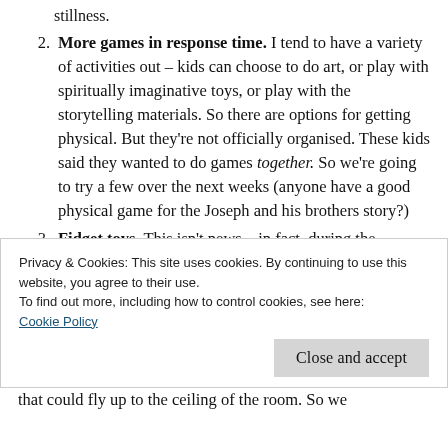stillness.
More games in response time. I tend to have a variety of activities out – kids can choose to do art, or play with spiritually imaginative toys, or play with the storytelling materials. So there are options for getting physical. But they're not officially organised. These kids said they wanted to do games together. So we're going to try a few over the next weeks (anyone have a good physical game for the Joseph and his brothers story?)
Fidget toys. This isn't news – in fact, during the disastrous session yesterday, one of the things I
Privacy & Cookies: This site uses cookies. By continuing to use this website, you agree to their use.
To find out more, including how to control cookies, see here:
Cookie Policy
that could fly up to the ceiling of the room. So we